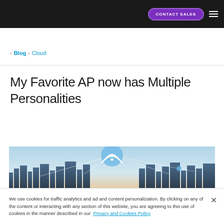CONTACT SALES
‹  Blog  ‹  Cloud
My Favorite AP now has Multiple Personalities
[Figure (photo): Cityscape at dusk with WiFi signal icon overlay and network connection lines in the sky]
We use cookies for traffic analytics and ad and content personalization. By clicking on any of the content or interacting with any section of this website, you are agreeing to this use of cookies in the manner described in our Privacy and Cookies Policy